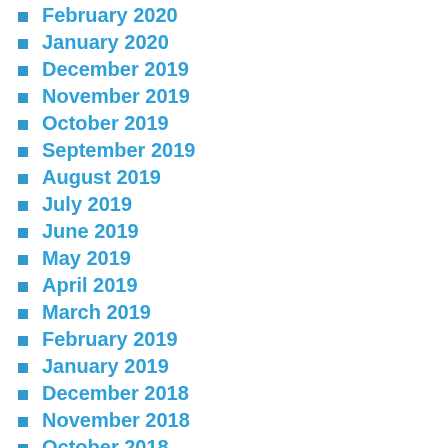February 2020
January 2020
December 2019
November 2019
October 2019
September 2019
August 2019
July 2019
June 2019
May 2019
April 2019
March 2019
February 2019
January 2019
December 2018
November 2018
October 2018
September 2018